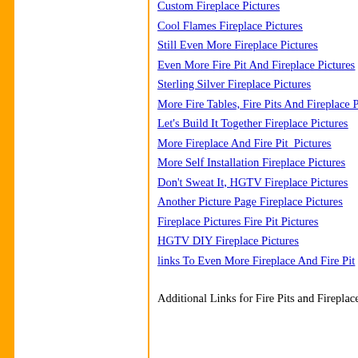Custom Fireplace Pictures
Cool Flames Fireplace Pictures
Still Even More Fireplace Pictures
Even More Fire Pit And Fireplace Pictures
Sterling Silver Fireplace Pictures
More Fire Tables, Fire Pits And Fireplace P...
Let's Build It Together Fireplace Pictures
More Fireplace And Fire Pit  Pictures
More Self Installation Fireplace Pictures
Don't Sweat It, HGTV Fireplace Pictures
Another Picture Page Fireplace Pictures
Fireplace Pictures Fire Pit Pictures
HGTV DIY Fireplace Pictures
links To Even More Fireplace And Fire Pit...
Additional Links for Fire Pits and Fireplace...